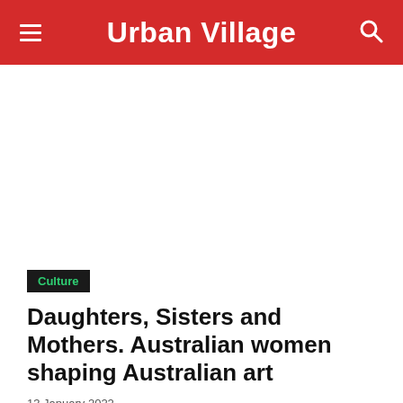Urban Village
[Figure (photo): Large image placeholder area (white/blank)]
Culture
Daughters, Sisters and Mothers. Australian women shaping Australian art
13 January 2022